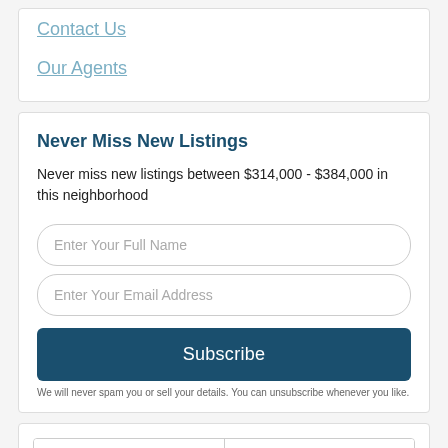Contact Us
Our Agents
Never Miss New Listings
Never miss new listings between $314,000 - $384,000 in this neighborhood
Enter Your Full Name
Enter Your Email Address
Subscribe
We will never spam you or sell your details. You can unsubscribe whenever you like.
Contact Us
Schedule a Visit
Full Name